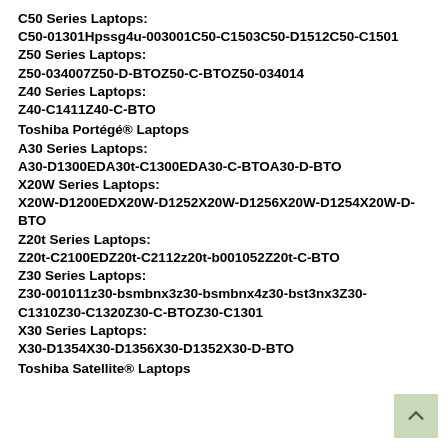C50 Series Laptops:
C50-01301Hpssg4u-003001C50-C1503C50-D1512C50-C1501
Z50 Series Laptops:
Z50-034007Z50-D-BTOZ50-C-BTOZ50-034014
Z40 Series Laptops:
Z40-C1411Z40-C-BTO
Toshiba Portégé® Laptops
A30 Series Laptops:
A30-D1300EDA30t-C1300EDA30-C-BTOA30-D-BTO
X20W Series Laptops:
X20W-D1200EDX20W-D1252X20W-D1256X20W-D1254X20W-D-BTO
Z20t Series Laptops:
Z20t-C2100EDZ20t-C2112z20t-b001052Z20t-C-BTO
Z30 Series Laptops:
Z30-001011z30-bsmbnx3z30-bsmbnx4z30-bst3nx3Z30-C1310Z30-C1320Z30-C-BTOZ30-C1301
X30 Series Laptops:
X30-D1354X30-D1356X30-D1352X30-D-BTO
Toshiba Satellite® Laptops